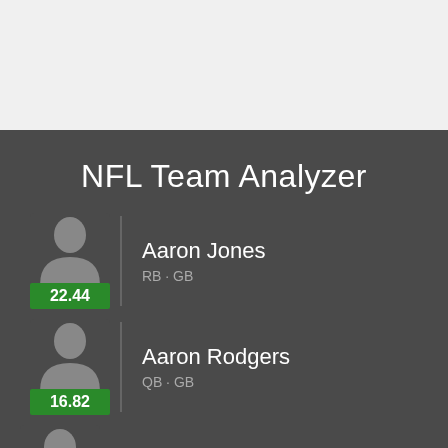NFL Team Analyzer
Aaron Jones, RB · GB, 22.44
Aaron Rodgers, QB · GB, 16.82